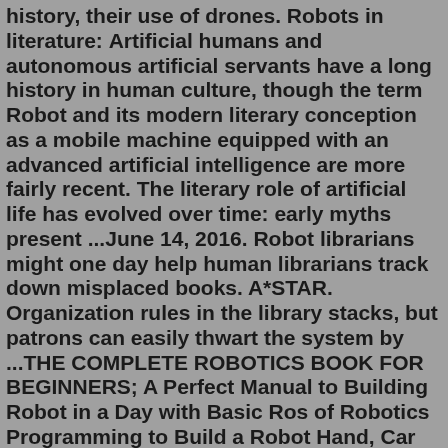history, their use of drones. Robots in literature: Artificial humans and autonomous artificial servants have a long history in human culture, though the term Robot and its modern literary conception as a mobile machine equipped with an advanced artificial intelligence are more fairly recent. The literary role of artificial life has evolved over time: early myths present ...June 14, 2016. Robot librarians might one day help human librarians track down misplaced books. A*STAR. Organization rules in the library stacks, but patrons can easily thwart the system by ...THE COMPLETE ROBOTICS BOOK FOR BEGINNERS; A Perfect Manual to Building Robot in a Day with Basic Ros of Robotics Programming to Build a Robot Hand, Car or Game. Pay attention if you want to learn about robotics. Robots will soon be commonplace as robotics slowly permeates our lives. Do you possess complete knowledge of robotics? Robotics, Second Edition is an essential addition to the toolbox of any engineer or hobbyist involved in the design of any type of robot or automated